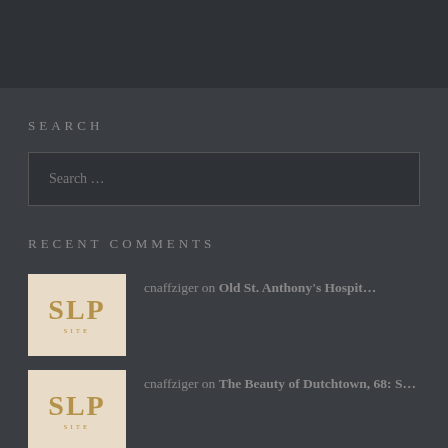SEARCH
Search …
RECENT COMMENTS
cnaffziger on Old St. Anthony's Hospit…
cnaffziger on The Beauty of Dutchtown, 68: S…
Allison Smith on The Beauty of